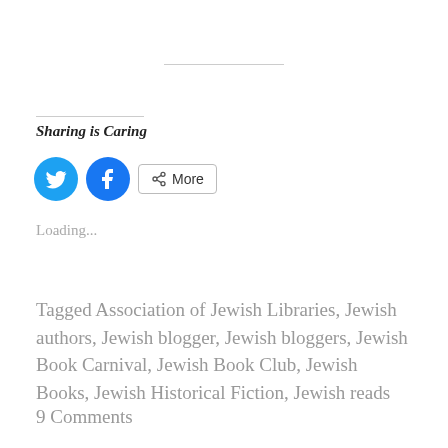Sharing is Caring
[Figure (infographic): Social sharing buttons: Twitter (blue bird icon circle), Facebook (blue f icon circle), and a More button with share icon]
Loading...
Tagged Association of Jewish Libraries, Jewish authors, Jewish blogger, Jewish bloggers, Jewish Book Carnival, Jewish Book Club, Jewish Books, Jewish Historical Fiction, Jewish reads
9 Comments